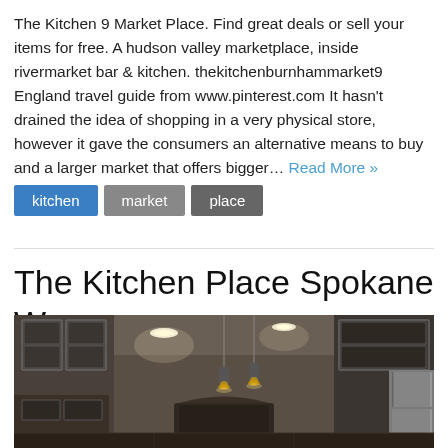The Kitchen 9 Market Place. Find great deals or sell your items for free. A hudson valley marketplace, inside rivermarket bar & kitchen. thekitchenburnhammarket9 England travel guide from www.pinterest.com It hasn't drained the idea of shopping in a very physical store, however it gave the consumers an alternative means to buy and a larger market that offers bigger… Read More »
kitchen
market
place
The Kitchen Place Spokane Wa
[Figure (photo): Interior photo of a kitchen with white cabinetry, recessed ceiling lights, and pendant lights hanging above an island area. A stainless steel refrigerator is visible on the right side.]